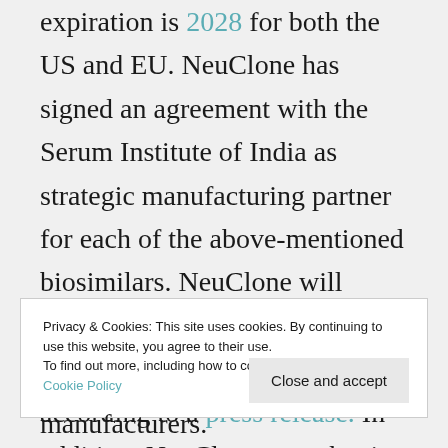expiration is 2028 for both the US and EU. NeuClone has signed an agreement with the Serum Institute of India as strategic manufacturing partner for each of the above-mentioned biosimilars. NeuClone will retain marketing rights in the US and other major markets, according to a press release. In addition, NeuClone says that it has another 12 (unnamed) biosimilar candidates in early stage development. This indeed represents one of the
Privacy & Cookies: This site uses cookies. By continuing to use this website, you agree to their use.
To find out more, including how to control cookies, see here:
Cookie Policy
manufacturers.